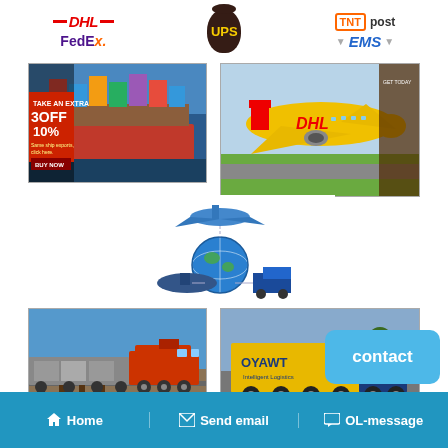[Figure (illustration): Shipping company logos: DHL (red), FedEx (purple/orange), UPS (brown/yellow), TNT Post, EMS (blue/yellow)]
[Figure (photo): Container cargo ship at sea — ocean freight]
[Figure (photo): DHL branded cargo airplane on runway — air freight]
[Figure (illustration): Logistics infographic: airplane, globe, cargo ship, and truck — global shipping modes]
[Figure (photo): Red freight train on tracks — rail freight]
[Figure (photo): OYAWT branded yellow and blue semi truck — road freight]
contact
Home   Send email   OL-message